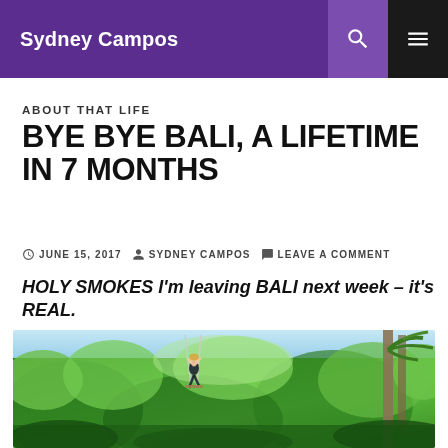Sydney Campos
ABOUT THAT LIFE
BYE BYE BALI, A LIFETIME IN 7 MONTHS
JUNE 15, 2017  SYDNEY CAMPOS  LEAVE A COMMENT
HOLY SMOKES I'm leaving BALI next week – it's REAL.
[Figure (photo): Person on a swing over lush green jungle/forest in Bali, with palm trees and blue sky in the background]